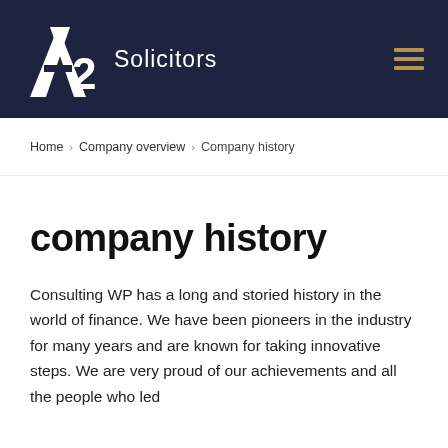[Figure (logo): A2 Solicitors logo with stylized A2 letterform in white on dark navy background, with the text 'Solicitors' beside it and a hamburger menu icon on the right]
Home › Company overview › Company history
company history
Consulting WP has a long and storied history in the world of finance. We have been pioneers in the industry for many years and are known for taking innovative steps. We are very proud of our achievements and all the people who led